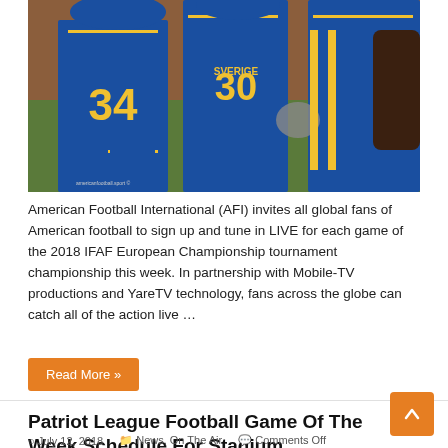[Figure (photo): American football players in blue and yellow uniforms with numbers 34, 30, and another player on the field]
American Football International (AFI) invites all global fans of American football to sign up and tune in LIVE for each game of the 2018 IFAF European Championship tournament championship this week. In partnership with Mobile-TV productions and YareTV technology, fans across the globe can catch all of the action live …
Read More »
Patriot League Football Game Of The Week Schedule For Stadium Announced
July 12, 2018   News, On The Air   Comments Off